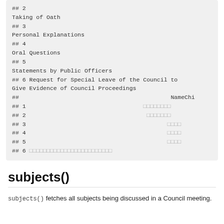## 2
Taking of Oath
## 3
Personal Explanations
## 4
Oral Questions
## 5
Statements by Public Officers
## 6 Request for Special Leave of the Council to Give Evidence of Council Proceedings
##                                     NameChi
## 1                                  
## 2                                
## 3                                     
## 4                                     
## 5                                     
## 6
subjects()
subjects() fetches all subjects being discussed in a Council meeting.